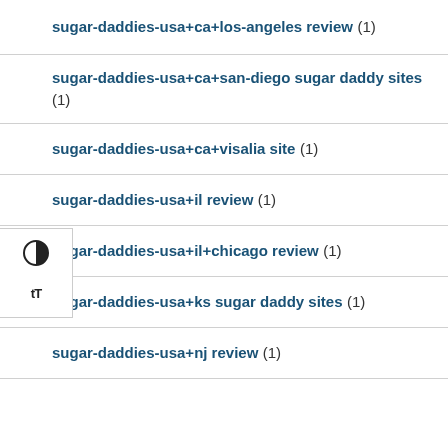sugar-daddies-usa+ca+los-angeles review (1)
sugar-daddies-usa+ca+san-diego sugar daddy sites (1)
sugar-daddies-usa+ca+visalia site (1)
sugar-daddies-usa+il review (1)
sugar-daddies-usa+il+chicago review (1)
sugar-daddies-usa+ks sugar daddy sites (1)
sugar-daddies-usa+nj review (1)